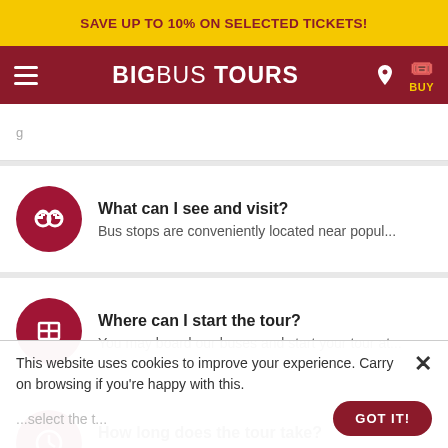SAVE UP TO 10% ON SELECTED TICKETS!
[Figure (logo): BigBus Tours navigation bar with hamburger menu, BigBus Tours logo, location icon, and BUY button]
What can I see and visit? Bus stops are conveniently located near popul...
Where can I start the tour? You may board our buses and start your tour at...
How long does the tour take? We offer a variety of tour routes, and each has ...
This website uses cookies to improve your experience. Carry on browsing if you're happy with this.
GOT IT!